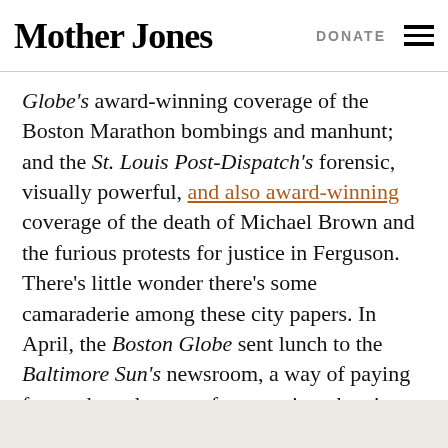Mother Jones | DONATE
Globe's award-winning coverage of the Boston Marathon bombings and manhunt; and the St. Louis Post-Dispatch's forensic, visually powerful, and also award-winning coverage of the death of Michael Brown and the furious protests for justice in Ferguson. There's little wonder there's some camaraderie among these city papers. In April, the Boston Globe sent lunch to the Baltimore Sun's newsroom, a way of paying forward another act of generosity when in April 2013, the Chicago Tribune bought the Globe pizzas during the bombing coverage.